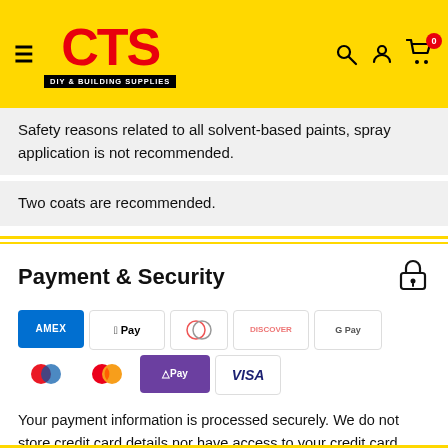CTS DIY & BUILDING SUPPLIES
Safety reasons related to all solvent-based paints, spray application is not recommended.
Two coats are recommended.
Payment & Security
[Figure (logo): Payment method icons: AMEX, Apple Pay, Diners Club, Discover, Google Pay, Maestro, Mastercard, OPay, VISA]
Your payment information is processed securely. We do not store credit card details nor have access to your credit card information.